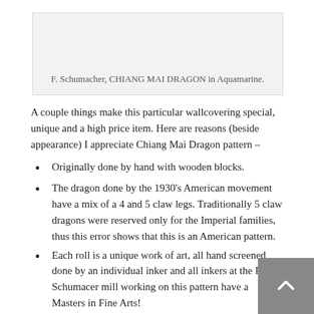[Figure (other): Light grey placeholder box for F. Schumacher CHIANG MAI DRAGON in Aquamarine wallcovering image]
F. Schumacher, CHIANG MAI DRAGON in Aquamarine.
A couple things make this particular wallcovering special, unique and a high price item. Here are reasons (beside appearance) I appreciate Chiang Mai Dragon pattern –
Originally done by hand with wooden blocks.
The dragon done by the 1930's American movement have a mix of a 4 and 5 claw legs. Traditionally 5 claw dragons were reserved only for the Imperial families, thus this error shows that this is an American pattern.
Each roll is a unique work of art, all hand screened done by an individual inker and all inkers at the F. Schumacer mill working on this pattern have a Masters in Fine Arts!